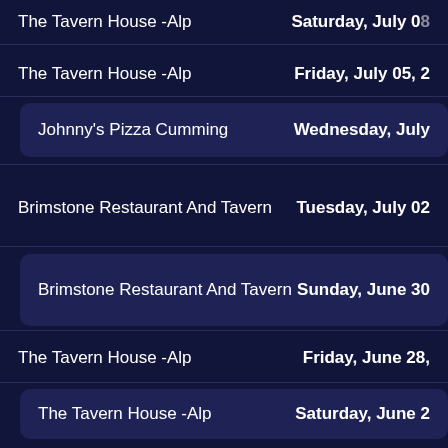The Tavern House -Alp | Saturday, July 0[truncated]
The Tavern House -Alp | Friday, July 05, 2[truncated]
Johnny's Pizza Cumming | Wednesday, July [truncated]
Brimstone Restaurant And Tavern | Tuesday, July 02
Brimstone Restaurant And Tavern | Sunday, June 30
The Tavern House -Alp | Friday, June 28, [truncated]
The Tavern House -Alp | Saturday, June 2[truncated]
The Tavern House -Alp | Friday, June 21, [truncated]
The Tavern House -Alp | Thursday, June 2[truncated]